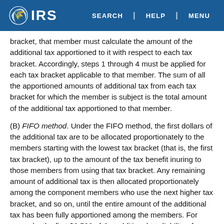IRS — SEARCH | HELP | MENU
bracket, that member must calculate the amount of the additional tax apportioned to it with respect to each tax bracket. Accordingly, steps 1 through 4 must be applied for each tax bracket applicable to that member. The sum of all the apportioned amounts of additional tax from each tax bracket for which the member is subject is the total amount of the additional tax apportioned to that member.
(B) FIFO method. Under the FIFO method, the first dollars of the additional tax are to be allocated proportionately to the members starting with the lowest tax bracket (that is, the first tax bracket), up to the amount of the tax benefit inuring to those members from using that tax bracket. Any remaining amount of additional tax is then allocated proportionately among the component members who use the next higher tax bracket, and so on, until the entire amount of the additional tax has been fully apportioned among the members. For example, the first $9,500 of the additional tax liability of a controlled group is